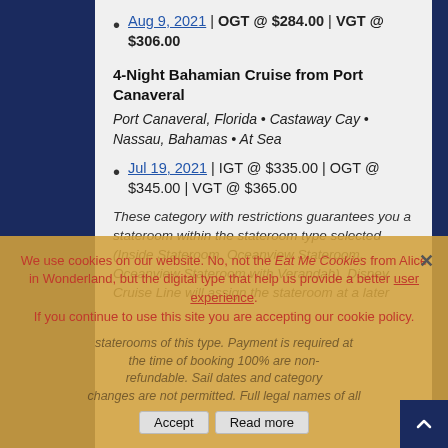Aug 9, 2021 | OGT @ $284.00 | VGT @ $306.00
4-Night Bahamian Cruise from Port Canaveral
Port Canaveral, Florida • Castaway Cay • Nassau, Bahamas • At Sea
Jul 19, 2021 | IGT @ $335.00 | OGT @ $345.00 | VGT @ $365.00
These category with restrictions guarantees you a stateroom within the stateroom type selected (Inside Stateroom, Oceanview Stateroom, Oceanview Stateroom with Verandah). Disney Cruise Line will assign the stateroom at a later date. Based on availability, but the staterooms of this type. Payment is required at the time of booking. 100% are non-refundable. Sail dates and category changes are not permitted. Full legal names of all
We use cookies on our website. No, not the Eat Me Cookies from Alice in Wonderland, but the digital type that help us provide a better user experience. If you continue to use this site you are accepting our cookie policy.